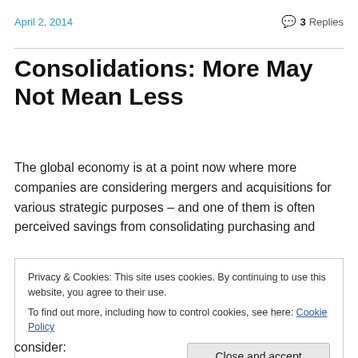April 2, 2014
3 Replies
Consolidations: More May Not Mean Less
The global economy is at a point now where more companies are considering mergers and acquisitions for various strategic purposes – and one of them is often perceived savings from consolidating purchasing and
Privacy & Cookies: This site uses cookies. By continuing to use this website, you agree to their use.
To find out more, including how to control cookies, see here: Cookie Policy
consider: